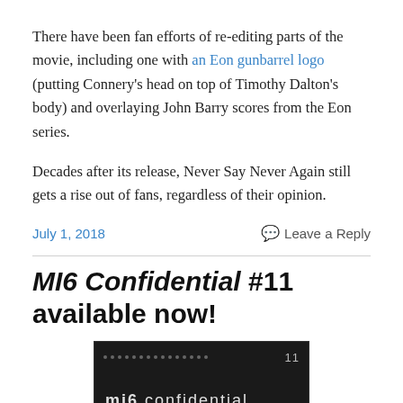There have been fan efforts of re-editing parts of the movie, including one with an Eon gunbarrel logo (putting Connery's head on top of Timothy Dalton's body) and overlaying John Barry scores from the Eon series.
Decades after its release, Never Say Never Again still gets a rise out of fans, regardless of their opinion.
July 1, 2018
Leave a Reply
MI6 Confidential #11 available now!
[Figure (screenshot): Dark thumbnail image showing 'mi6 confidential' text in lowercase with number 11 in upper right corner, on a dark/black background with dot pattern]